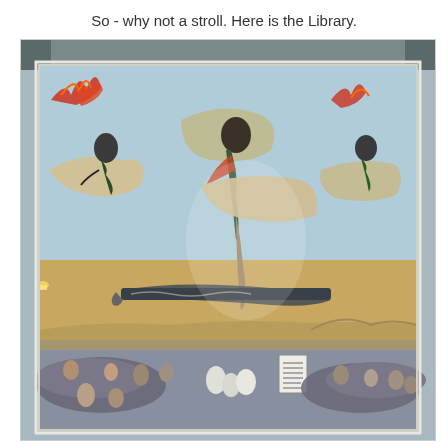So - why not a stroll. Here is the Library.
[Figure (photo): A large mural painting displayed in a library, depicting dramatic scenes with figures on horseback, flames, and a crowd of people at the bottom. The mural features bold, expressive artwork in the style of Mexican muralism, with warriors/riders in the upper portion and a mass of people below.]